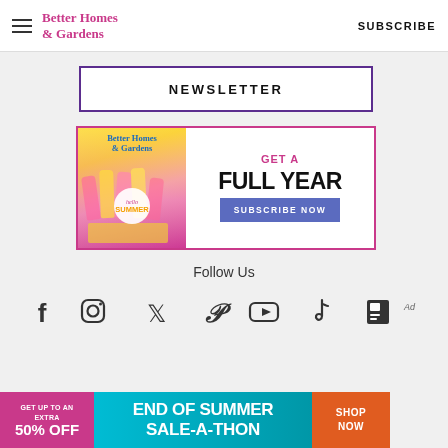Better Homes & Gardens | SUBSCRIBE
NEWSLETTER
[Figure (infographic): Better Homes & Gardens magazine subscription promotion with magazine cover showing summer popsicles, text 'GET A FULL YEAR' and 'SUBSCRIBE NOW' button]
Follow Us
[Figure (infographic): Social media icons row: Facebook, Instagram, Twitter, Pinterest, YouTube, TikTok, Flipboard]
[Figure (infographic): Ad banner: GET UP TO AN EXTRA 50% OFF | END OF SUMMER SALE-A-THON | SHOP NOW]